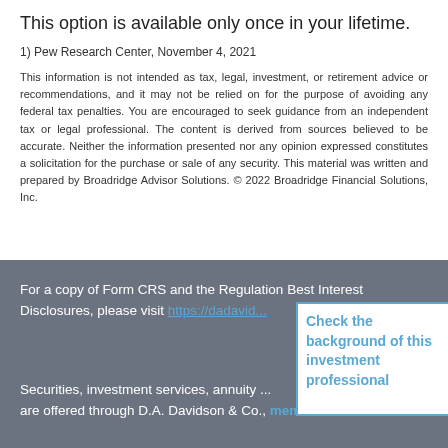This option is available only once in your lifetime.
1) Pew Research Center, November 4, 2021
This information is not intended as tax, legal, investment, or retirement advice or recommendations, and it may not be relied on for the purpose of avoiding any federal tax penalties. You are encouraged to seek guidance from an independent tax or legal professional. The content is derived from sources believed to be accurate. Neither the information presented nor any opinion expressed constitutes a solicitation for the purchase or sale of any security. This material was written and prepared by Broadridge Advisor Solutions. © 2022 Broadridge Financial Solutions, Inc.
For a copy of Form CRS and the Regulation Best Interest Disclosures, please visit https://dadavid...
[Figure (other): Blue bordered box with text: Check the background of this investment professional]
Securities, investment services, annuity ... are offered through D.A. Davidson & Co., member SIPC